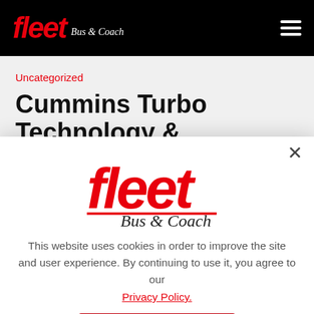fleet Bus & Coach — navigation bar with hamburger menu
Uncategorized
Cummins Turbo Technology & Holset celebrate 70 years
[Figure (logo): Fleet Bus & Coach logo — red italic 'fleet' text with 'Bus & Coach' in script below, red underline]
This website uses cookies in order to improve the site and user experience. By continuing to use it, you agree to our Privacy Policy.
I understand